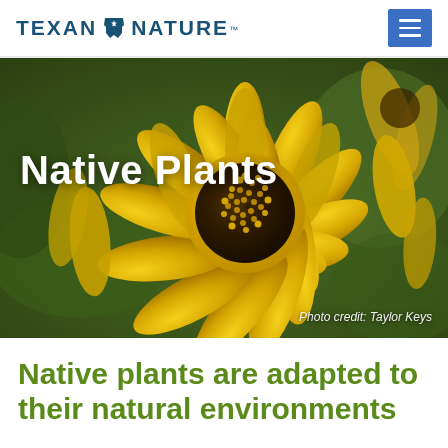TEXAN by NATURE
[Figure (photo): Close-up photograph of a yellow sunflower (native plant) with a dark brown center, set against a blurred green background. The image has a photographic depth-of-field effect. Overlaid text reads 'Native Plants'. Bottom-right corner shows photo credit 'Photo credit: Taylor Keys'.]
Native plants are adapted to their natural environments